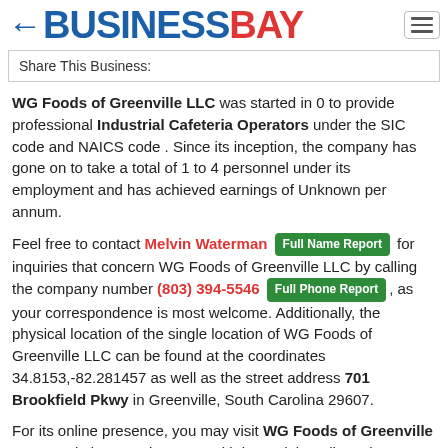←BUSINESSBAY
Share This Business:
WG Foods of Greenville LLC was started in 0 to provide professional Industrial Cafeteria Operators under the SIC code and NAICS code . Since its inception, the company has gone on to take a total of 1 to 4 personnel under its employment and has achieved earnings of Unknown per annum.
Feel free to contact Melvin Waterman [Full Name Report] for inquiries that concern WG Foods of Greenville LLC by calling the company number (803) 394-5546 [Full Phone Report], as your correspondence is most welcome. Additionally, the physical location of the single location of WG Foods of Greenville LLC can be found at the coordinates 34.8153,-82.281457 as well as the street address 701 Brookfield Pkwy in Greenville, South Carolina 29607.
For its online presence, you may visit WG Foods of Greenville LLC's website at and engage with its social media outlets through on Twitter and on Facebook.